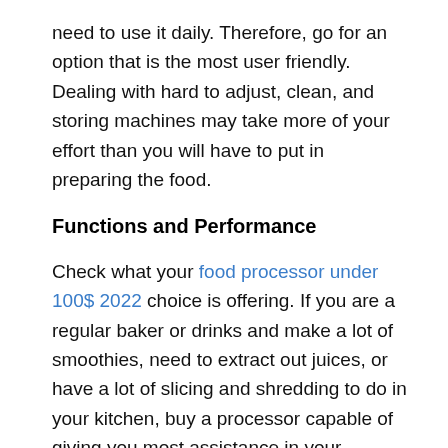need to use it daily. Therefore, go for an option that is the most user friendly. Dealing with hard to adjust, clean, and storing machines may take more of your effort than you will have to put in preparing the food.
Functions and Performance
Check what your food processor under 100$ 2022 choice is offering. If you are a regular baker or drinks and make a lot of smoothies, need to extract out juices, or have a lot of slicing and shredding to do in your kitchen, buy a processor capable of giving you most assistance in your